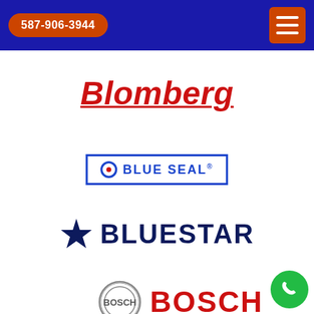587-906-3944
[Figure (logo): Blomberg brand logo — bold red italic text with underline]
[Figure (logo): Blue Seal brand logo — blue rectangle border with circle dot and bold blue uppercase text BLUE SEAL]
[Figure (logo): BlueStar brand logo — dark navy star icon followed by bold navy uppercase text BLUESTAR]
[Figure (logo): Bosch brand logo — circular Bosch badge icon and bold red uppercase text BOSCH]